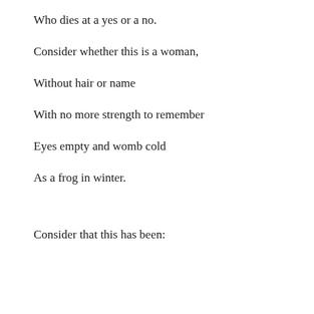Who dies at a yes or a no.
Consider whether this is a woman,
Without hair or name
With no more strength to remember
Eyes empty and womb cold
As a frog in winter.
Consider that this has been: